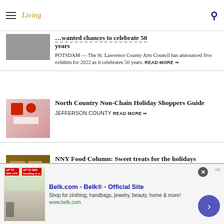Living
…wanted chances to celebrate 50 years
POTSDAM — The St. Lawrence County Arts Council has announced five exhibits for 2022 as it celebrates 50 years. READ MORE ⇒
North Country Non-Chain Holiday Shoppers Guide
JEFFERSON COUNTY READ MORE ⇒
NNY Food Column: Sweet treats for the holidays
To hell with presents. The best part of any holiday is the pastries. READ MORE ⇒
Belk.com - Belk® - Official Site
Shop for clothing, handbags, jewelry, beauty, home & more!
www.belk.com